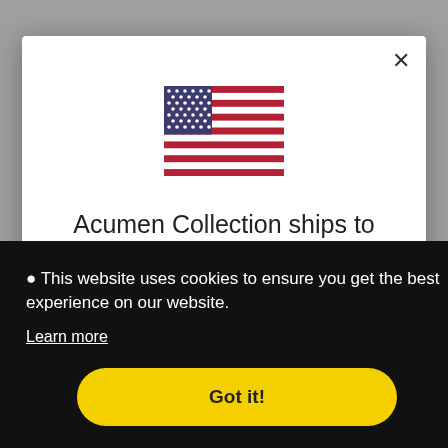[Figure (illustration): Screenshot of a website modal dialog showing 'Acumen Collection ships to United States' with a US flag icon, overlaid by a cookie consent banner saying 'This website uses cookies to ensure you get the best experience on our website.' with a 'Learn more' link and 'Got it!' button.]
Acumen Collection ships to United States
Shop in USD $
Get shipping options for United States
🍪 This website uses cookies to ensure you get the best experience on our website.
Learn more
Got it!